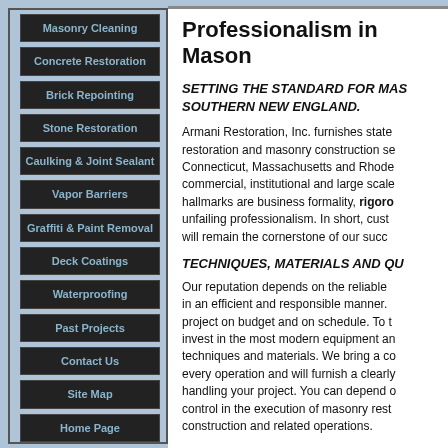Masonry Cleaning
Concrete Restoration
Brick Repointing
Stone Restoration
Caulking & Joint Sealant
Vapor Barriers
Graffiti & Paint Removal
Deck Coatings
Waterproofing
Past Projects
Contact Us
Site Map
Home Page
Professionalism in Mason
SETTING THE STANDARD FOR MAS SOUTHERN NEW ENGLAND.
Armani Restoration, Inc. furnishes state restoration and masonry construction se Connecticut, Massachusetts and Rhode commercial, institutional and large scale hallmarks are business formality, rigoro unfailing professionalism. In short, cust will remain the cornerstone of our succ
TECHNIQUES, MATERIALS AND QU
Our reputation depends on the reliable in an efficient and responsible manner. project on budget and on schedule. To t invest in the most modern equipment an techniques and materials. We bring a co every operation and will furnish a clearly handling your project. You can depend o control in the execution of masonry rest construction and related operations.